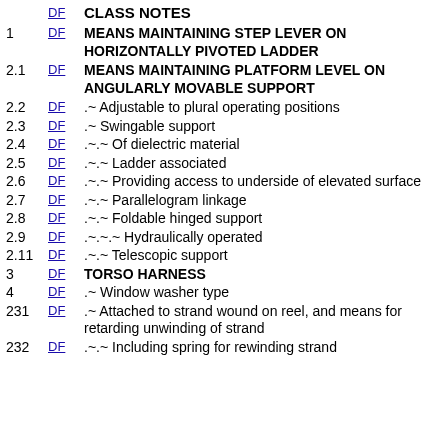DF CLASS NOTES
1 DF MEANS MAINTAINING STEP LEVER ON HORIZONTALLY PIVOTED LADDER
2.1 DF MEANS MAINTAINING PLATFORM LEVEL ON ANGULARLY MOVABLE SUPPORT
2.2 DF .~ Adjustable to plural operating positions
2.3 DF .~ Swingable support
2.4 DF .~.~ Of dielectric material
2.5 DF .~.~ Ladder associated
2.6 DF .~.~ Providing access to underside of elevated surface
2.7 DF .~.~ Parallelogram linkage
2.8 DF .~.~ Foldable hinged support
2.9 DF .~.~.~ Hydraulically operated
2.11 DF .~.~ Telescopic support
3 DF TORSO HARNESS
4 DF .~ Window washer type
231 DF .~ Attached to strand wound on reel, and means for retarding unwinding of strand
232 DF .~.~ Including spring for rewinding strand